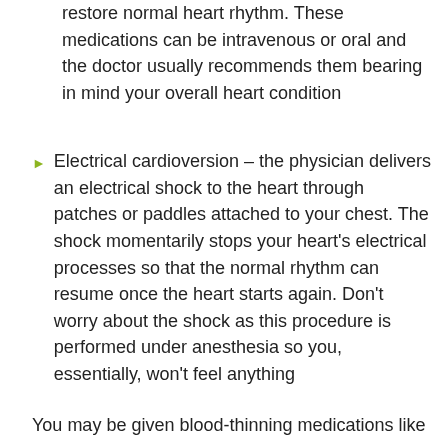restore normal heart rhythm. These medications can be intravenous or oral and the doctor usually recommends them bearing in mind your overall heart condition
Electrical cardioversion – the physician delivers an electrical shock to the heart through patches or paddles attached to your chest. The shock momentarily stops your heart's electrical processes so that the normal rhythm can resume once the heart starts again. Don't worry about the shock as this procedure is performed under anesthesia so you, essentially, won't feel anything
You may be given blood-thinning medications like